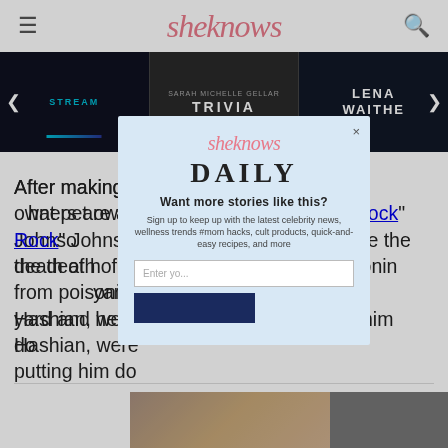sheknows
[Figure (screenshot): Banner strip with three thumbnail images: STREAM, TRIVIA (Sarah Michelle Gellar), LENA WAITHE]
Report ad
After making t... that pet owners are al... ayne “The Rock” Johnso... announce the death of h... suffered from poisonin... yard and he a... Hashian, were... putting him do...
[Figure (screenshot): SheKnows Daily newsletter signup modal with email input and subscribe button]
[Figure (photo): Partial bottom image visible at bottom of page]